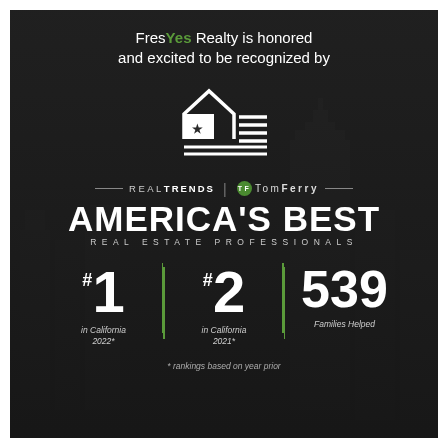FresYes Realty is honored and excited to be recognized by
[Figure (logo): RealTrends home icon logo with star and horizontal lines]
REAL TRENDS | TomFerry
AMERICA'S BEST REAL ESTATE PROFESSIONALS
#1 in California 2022* | #2 in California 2021* | 539 Families Helped
* rankings based on year prior